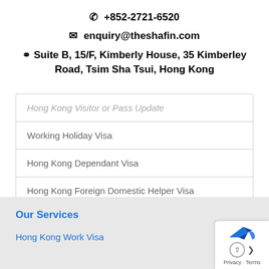☎ +852-2721-6520
✉ enquiry@theshafin.com
📍 Suite B, 15/F, Kimberly House, 35 Kimberley Road, Tsim Sha Tsui, Hong Kong
Hong Kong Visitor or Pass Update
Working Holiday Visa
Hong Kong Dependant Visa
Hong Kong Foreign Domestic Helper Visa
Our Services
Hong Kong Work Visa